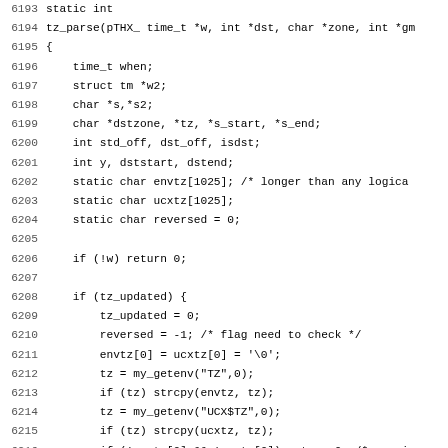[Figure (screenshot): Source code listing in monospace font showing C function tz_parse, lines 6193-6225, with line numbers on the left and code on the right. Background is white.]